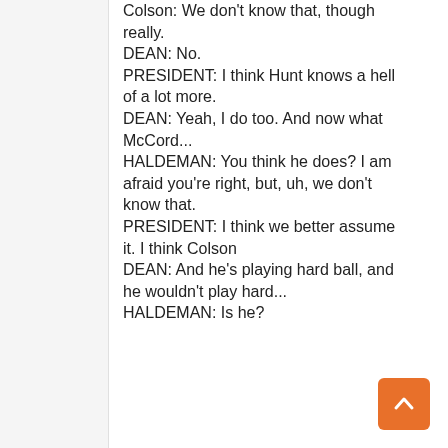Colson: We don't know that, though really. DEAN: No. PRESIDENT: I think Hunt knows a hell of a lot more. DEAN: Yeah, I do too. And now what McCord... HALDEMAN: You think he does? I am afraid you're right, but, uh, we don't know that. PRESIDENT: I think we better assume it. I think Colson DEAN: And he's playing hard ball, and he wouldn't play hard... HALDEMAN: Is he?